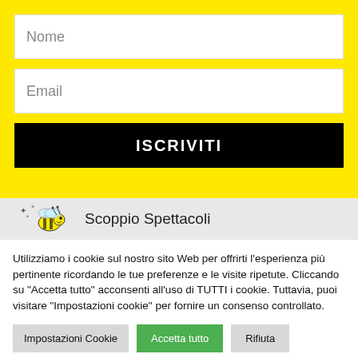Nome
Email
ISCRIVITI
[Figure (logo): Scoppio Spettacoli logo with cartoon bee and stars]
Scoppio Spettacoli
Utilizziamo i cookie sul nostro sito Web per offrirti l'esperienza più pertinente ricordando le tue preferenze e le visite ripetute. Cliccando su "Accetta tutto" acconsenti all'uso di TUTTI i cookie. Tuttavia, puoi visitare "Impostazioni cookie" per fornire un consenso controllato.
Impostazioni Cookie
Accetta tutto
Rifiuta